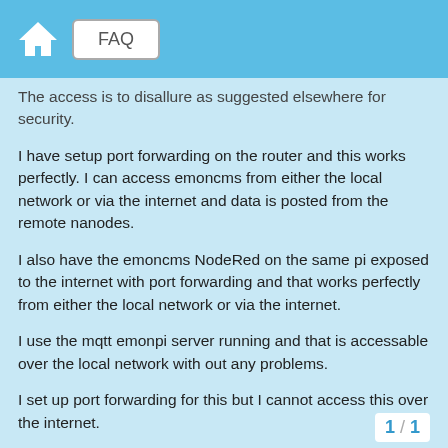FAQ
The access is to disallure as suggested elsewhere for security.
I have setup port forwarding on the router and this works perfectly. I can access emoncms from either the local network or via the internet and data is posted from the remote nanodes.
I also have the emoncms NodeRed on the same pi exposed to the internet with port forwarding and that works perfectly from either the local network or via the internet.
I use the mqtt emonpi server running and that is accessable over the local network with out any problems.
I set up port forwarding for this but I cannot access this over the internet.
If I alter a nodered mqtt flow to the internet server all I see is *connecting. Alter it back to localhost and it connects straight away
1 / 1